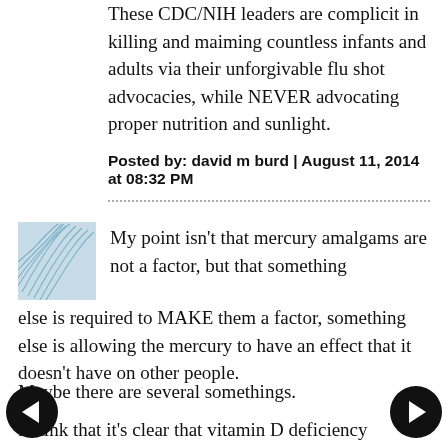These CDC/NIH leaders are complicit in killing and maiming countless infants and adults via their unforgivable flu shot advocacies, while NEVER advocating proper nutrition and sunlight.
Posted by: david m burd | August 11, 2014 at 08:32 PM
[Figure (illustration): Small square avatar image with a blue wave/shell pattern graphic]
My point isn't that mercury amalgams are not a factor, but that something else is required to MAKE them a factor, something else is allowing the mercury to have an effect that it doesn't have on other people.
Maybe there are several somethings.
I think that it's clear that vitamin D deficiency is a factor. Vitamin D deficiency results in...